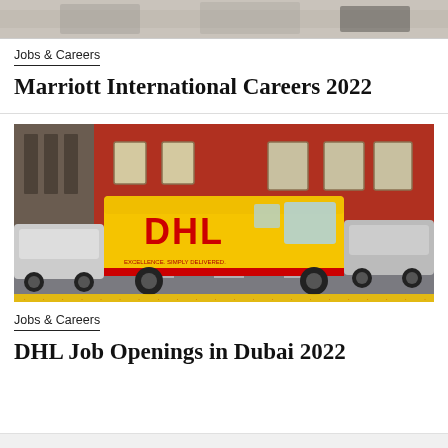[Figure (photo): Partial image at top of page, cropped — appears to be people at a hotel or restaurant setting.]
Jobs & Careers
Marriott International Careers 2022
[Figure (photo): DHL yellow delivery van parked on a street in front of a red brick building, with cars parked on either side. Text on van reads EXCELLENCE. SIMPLY DELIVERED.]
Jobs & Careers
DHL Job Openings in Dubai 2022